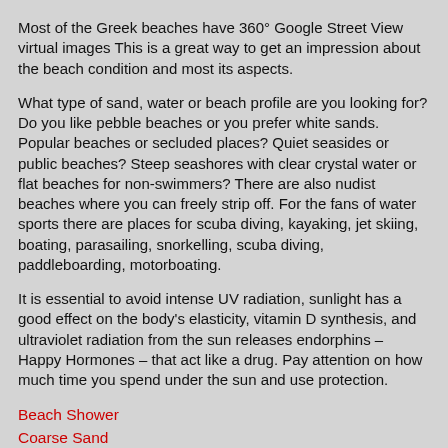Most of the Greek beaches have 360° Google Street View virtual images This is a great way to get an impression about the beach condition and most its aspects.
What type of sand, water or beach profile are you looking for? Do you like pebble beaches or you prefer white sands. Popular beaches or secluded places? Quiet seasides or public beaches? Steep seashores with clear crystal water or flat beaches for non-swimmers? There are also nudist beaches where you can freely strip off. For the fans of water sports there are places for scuba diving, kayaking, jet skiing, boating, parasailing, snorkelling, scuba diving, paddleboarding, motorboating.
It is essential to avoid intense UV radiation, sunlight has a good effect on the body's elasticity, vitamin D synthesis, and ultraviolet radiation from the sun releases endorphins – Happy Hormones – that act like a drug. Pay attention on how much time you spend under the sun and use protection.
Beach Shower
Coarse Sand
Rocky Beach